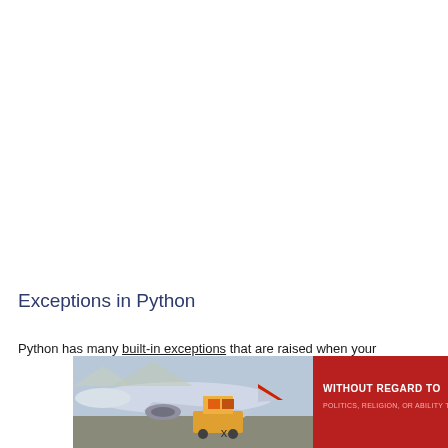Exceptions in Python
Python has many built-in exceptions that are raised when your
[Figure (photo): Advertisement banner showing an airplane being loaded with cargo at an airport, with a red panel on the right reading 'WITHOUT REGARD TO POLITICS, RELIGION, OR ABILITY TO PAY']
x